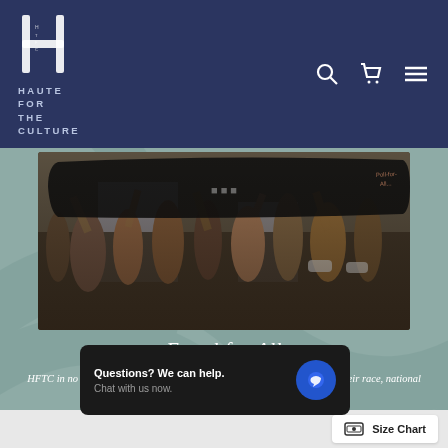[Figure (logo): Haute For The Culture logo: stylized H letterform in white above text HAUTE FOR THE CULTURE on navy background]
[Figure (photo): Protest crowd photo showing people holding up a large black sign, crowd wearing masks, taken at a demonstration]
Equal for All
HFTC in no way condones the unjust treatment of individuals based upon their race, national origin, gender or sexual orientation.
Questions? We can help. Chat with us now.
Size Chart